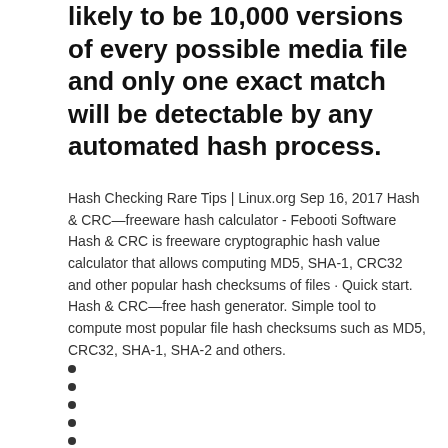likely to be 10,000 versions of every possible media file and only one exact match will be detectable by any automated hash process.
Hash Checking Rare Tips | Linux.org Sep 16, 2017 Hash & CRC—freeware hash calculator - Febooti Software Hash & CRC is freeware cryptographic hash value calculator that allows computing MD5, SHA-1, CRC32 and other popular hash checksums of files · Quick start. Hash & CRC—free hash generator. Simple tool to compute most popular file hash checksums such as MD5, CRC32, SHA-1, SHA-2 and others.